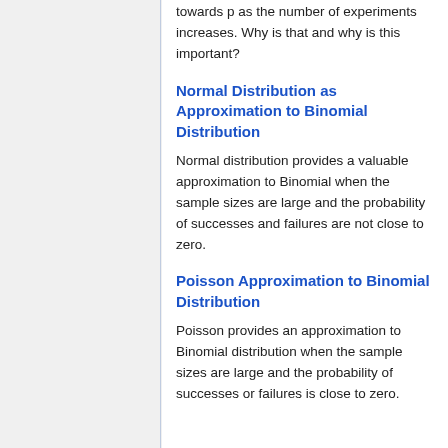towards p as the number of experiments increases. Why is that and why is this important?
Normal Distribution as Approximation to Binomial Distribution
Normal distribution provides a valuable approximation to Binomial when the sample sizes are large and the probability of successes and failures are not close to zero.
Poisson Approximation to Binomial Distribution
Poisson provides an approximation to Binomial distribution when the sample sizes are large and the probability of successes or failures is close to zero.